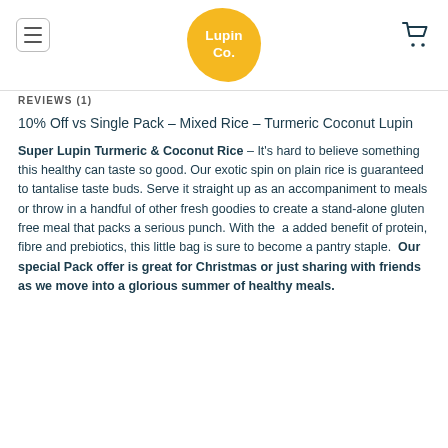[Figure (logo): The Lupin Co. logo — yellow organic blob shape with white bold text reading 'Lupin Co.']
REVIEWS (1)
10% Off vs Single Pack – Mixed Rice – Turmeric Coconut Lupin
Super Lupin Turmeric & Coconut Rice – It's hard to believe something this healthy can taste so good. Our exotic spin on plain rice is guaranteed to tantalise taste buds. Serve it straight up as an accompaniment to meals or throw in a handful of other fresh goodies to create a stand-alone gluten free meal that packs a serious punch. With the  a added benefit of protein, fibre and prebiotics, this little bag is sure to become a pantry staple.  Our special Pack offer is great for Christmas or just sharing with friends as we move into a glorious summer of healthy meals.